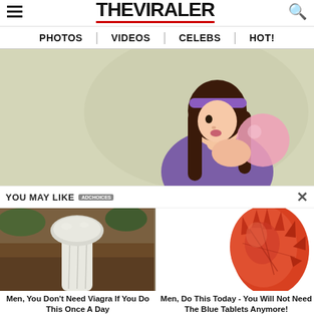THE VIRALER
PHOTOS | VIDEOS | CELEBS | HOT!
[Figure (illustration): Cartoon illustration of a dark-haired girl in a purple top blowing a pink bubble gum bubble, on a light grey-green background]
YOU MAY LIKE   ADCHOICES   ×
[Figure (photo): Photo of a white mushroom against a brown dirt background]
Men, You Don't Need Viagra If You Do This Once A Day
[Figure (photo): Close-up photo of a red and orange spiky sea creature or marine organism on white background]
Men, Do This Today - You Will Not Need The Blue Tablets Anymore!